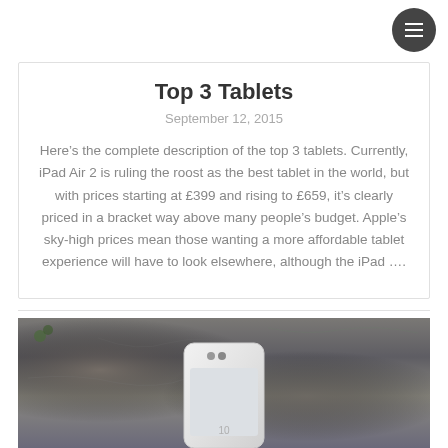Top 3 Tablets
September 12, 2015
Here’s the complete description of the top 3 tablets. Currently, iPad Air 2 is ruling the roost as the best tablet in the world, but with prices starting at £399 and rising to £659, it’s clearly priced in a bracket way above many people’s budget. Apple’s sky-high prices mean those wanting a more affordable tablet experience will have to look elsewhere, although the iPad ....
[Figure (photo): Photo of a white tablet/phone device resting on stone surface]